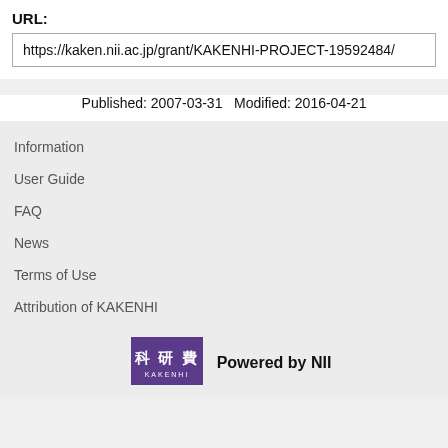URL:
https://kaken.nii.ac.jp/grant/KAKENHI-PROJECT-19592484/
Published: 2007-03-31   Modified: 2016-04-21
Information
User Guide
FAQ
News
Terms of Use
Attribution of KAKENHI
[Figure (logo): KAKENHI logo — purple square with Japanese characters 科研費 and KAKENHI below]
Powered by NII